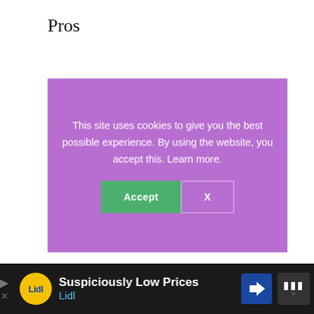Pros
[Figure (screenshot): Cookie consent banner with purple background. Text reads: 'This site uses cookies to give you the best possible experience. By using the website, you accept this. Learn more.' Two buttons: green 'Accept' button and outlined 'X' button.]
Electrostatic paint so it won't chip or wear off
[Figure (screenshot): Bottom advertisement bar for Lidl 'Suspiciously Low Prices' with Lidl logo, navigation arrows, blue direction sign icon, and a weather/other app icon.]